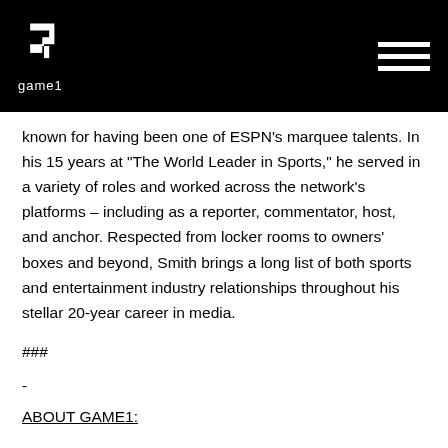game1 logo and navigation
known for having been one of ESPN's marquee talents. In his 15 years at “The World Leader in Sports,” he served in a variety of roles and worked across the network’s platforms – including as a reporter, commentator, host, and anchor. Respected from locker rooms to owners' boxes and beyond, Smith brings a long list of both sports and entertainment industry relationships throughout his stellar 20-year career in media.
###
-
ABOUT GAME1: